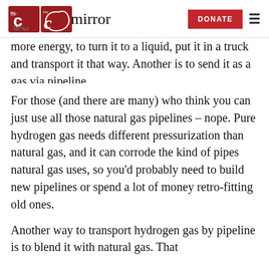the mirror — DONATE
more energy, to turn it to a liquid, put it in a truck and transport it that way. Another is to send it as a gas via pipeline.
For those (and there are many) who think you can just use all those natural gas pipelines – nope. Pure hydrogen gas needs different pressurization than natural gas, and it can corrode the kind of pipes natural gas uses, so you'd probably need to build new pipelines or spend a lot of money retro-fitting old ones.
Another way to transport hydrogen gas by pipeline is to blend it with natural gas. That